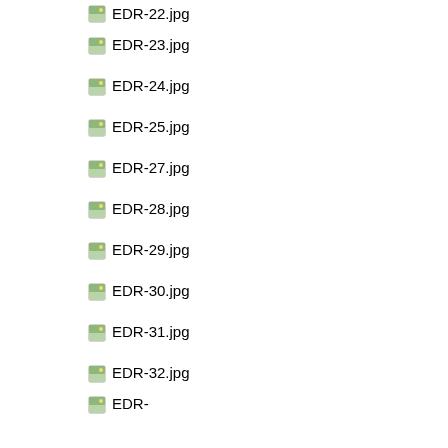EDR-22.jpg
EDR-23.jpg
EDR-24.jpg
EDR-25.jpg
EDR-27.jpg
EDR-28.jpg
EDR-29.jpg
EDR-30.jpg
EDR-31.jpg
EDR-32.jpg
EDR-...